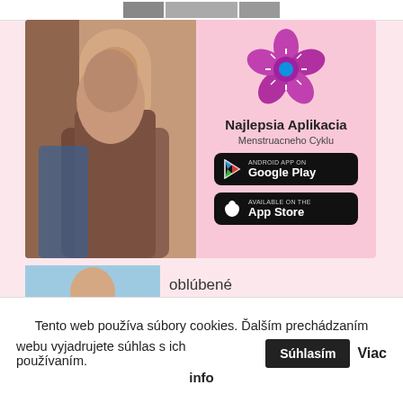[Figure (photo): Top strip with small thumbnail images]
[Figure (infographic): Advertisement banner for menstrual cycle app. Left side shows a photo of a woman. Right side has a pink background with a flower logo, text 'Najlepsia Aplikacia Menstruacneho Cyklu', Google Play button, and App Store button.]
[Figure (photo): Article thumbnail showing a person, with partial text 'obľúbené jesenne/zimné']
oblúbené
jesenné/zimné
Tento web používa súbory cookies. Ďalším prechádzaním webu vyjadrujete súhlas s ich používaním. Súhlasím Viac info